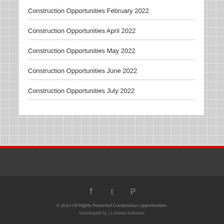Construction Opportunities February 2022
Construction Opportunities April 2022
Construction Opportunities May 2022
Construction Opportunities June 2022
Construction Opportunities July 2022
© 2014 All Rights Reserved Construction Opportunities.
Developed by | Lunetta Software